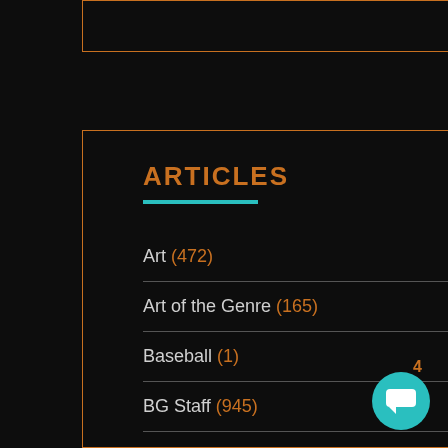ARTICLES
Art (472)
Art of the Genre (165)
Baseball (1)
BG Staff (945)
Black Gate Goes to Summer Movies (36)
Blog Entry (5,413)
Books (5,549)